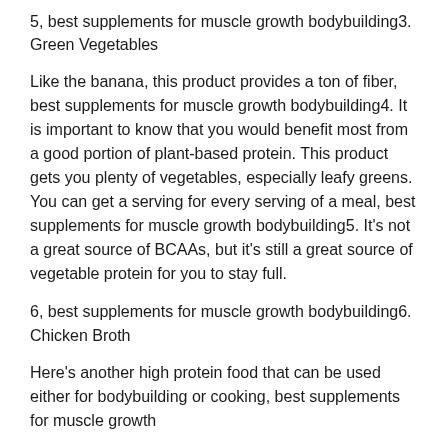5, best supplements for muscle growth bodybuilding3. Green Vegetables
Like the banana, this product provides a ton of fiber, best supplements for muscle growth bodybuilding4. It is important to know that you would benefit most from a good portion of plant-based protein. This product gets you plenty of vegetables, especially leafy greens. You can get a serving for every serving of a meal, best supplements for muscle growth bodybuilding5. It's not a great source of BCAAs, but it's still a great source of vegetable protein for you to stay full.
6, best supplements for muscle growth bodybuilding6. Chicken Broth
Here's another high protein food that can be used either for bodybuilding or cooking, best supplements for muscle growth